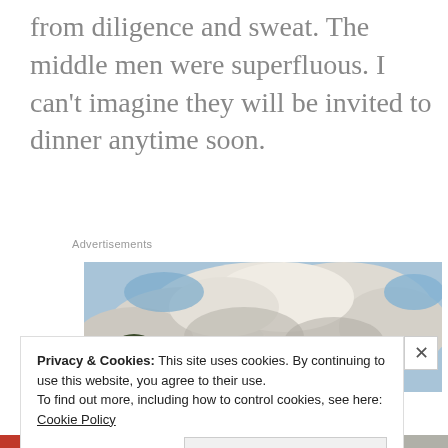from diligence and sweat. The middle men were superfluous. I can't imagine they will be invited to dinner anytime soon.
Advertisements
[Figure (photo): A wide-angle photograph of a cloudy sky with white cumulus clouds and patches of blue sky, with tree tops visible at the lower left edge.]
Privacy & Cookies: This site uses cookies. By continuing to use this website, you agree to their use.
To find out more, including how to control cookies, see here:
Cookie Policy
Close and accept